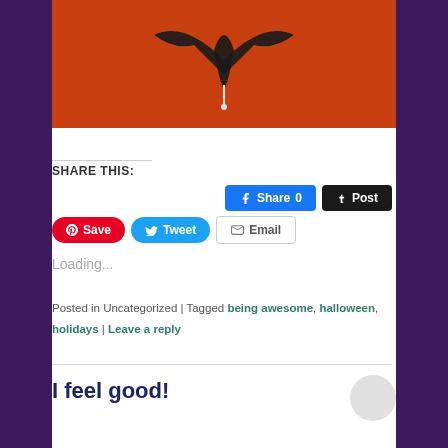[Figure (photo): Orange background with a dark stylized spider or bat-like symbol/logo in the center, partially cropped at the top]
SHARE THIS:
Share 0 (Facebook) | Post (Tumblr) | Save (Pinterest) | Tweet (Twitter) | Email
Loading...
Posted in Uncategorized | Tagged being awesome, halloween, holidays | Leave a reply
I feel good!